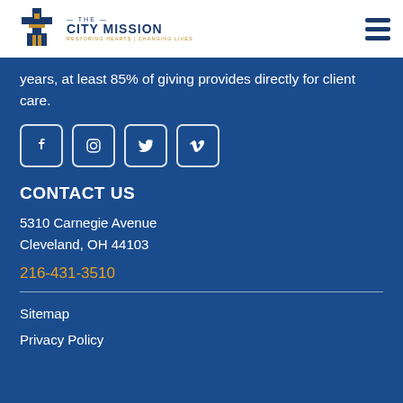[Figure (logo): The City Mission logo with cross/book icon and tagline 'RESTORING HEARTS | CHANGING LIVES']
years, at least 85% of giving provides directly for client care.
[Figure (other): Social media icons: Facebook, Instagram, Twitter, Vimeo]
CONTACT US
5310 Carnegie Avenue
Cleveland, OH 44103
216-431-3510
Sitemap
Privacy Policy